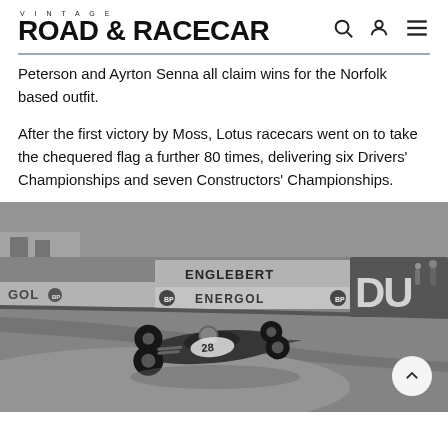VINTAGE ROAD & RACECAR
Peterson and Ayrton Senna all claim wins for the Norfolk based outfit.
After the first victory by Moss, Lotus racecars went on to take the chequered flag a further 80 times, delivering six Drivers' Championships and seven Constructors' Championships.
[Figure (photo): Black and white photograph of a vintage Formula 1 racing car (number 28) cornering on a street circuit, with ENGLEBERT and BP ENERGOL advertising banners visible in the background.]